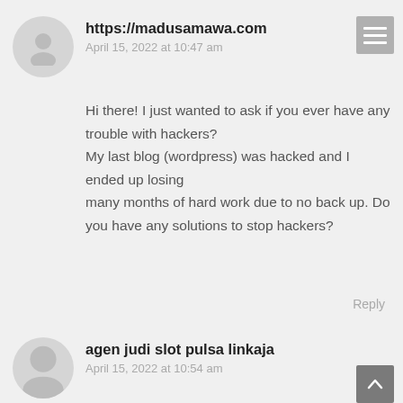https://madusamawa.com
April 15, 2022 at 10:47 am
Hi there! I just wanted to ask if you ever have any trouble with hackers?
My last blog (wordpress) was hacked and I ended up losing
many months of hard work due to no back up. Do you have any solutions to stop hackers?
Reply
agen judi slot pulsa linkaja
April 15, 2022 at 10:54 am
I love reading a post that can make people think.